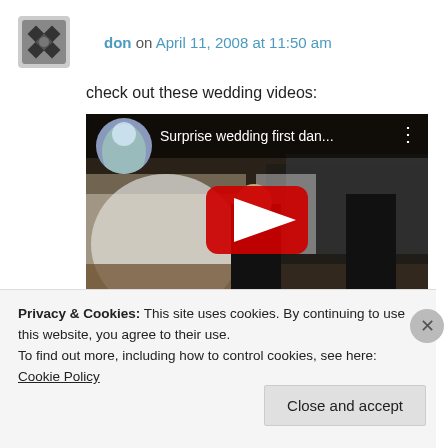don on April 11, 2008 at 11:50 am
check out these wedding videos:
[Figure (screenshot): YouTube video embed thumbnail showing a wedding dance scene with a red play button. Title reads 'Surprise wedding first dan...']
Privacy & Cookies: This site uses cookies. By continuing to use this website, you agree to their use.
To find out more, including how to control cookies, see here: Cookie Policy
Close and accept